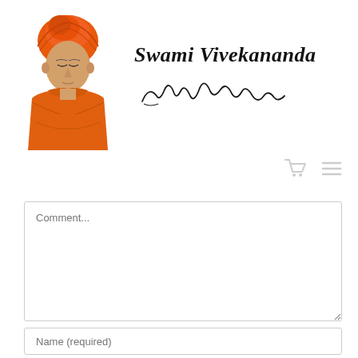[Figure (illustration): Portrait illustration of Swami Vivekananda wearing an orange robe and orange turban, with eyes downcast]
Swami Vivekananda
[Figure (illustration): Handwritten signature of Swami Vivekananda in cursive script]
[Figure (other): Shopping cart icon and hamburger menu icon in light gray]
Comment...
Name (required)
Email (required)